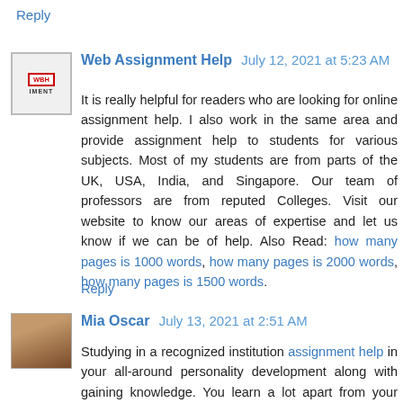Reply
Web Assignment Help  July 12, 2021 at 5:23 AM
It is really helpful for readers who are looking for online assignment help. I also work in the same area and provide assignment help to students for various subjects. Most of my students are from parts of the UK, USA, India, and Singapore. Our team of professors are from reputed Colleges. Visit our website to know our areas of expertise and let us know if we can be of help. Also Read: how many pages is 1000 words, how many pages is 2000 words, how many pages is 1500 words.
Reply
Mia Oscar  July 13, 2021 at 2:51 AM
Studying in a recognized institution assignment help in your all-around personality development along with gaining knowledge. You learn a lot apart from your subjects. Such organizations aim at developing the utmost professionalism